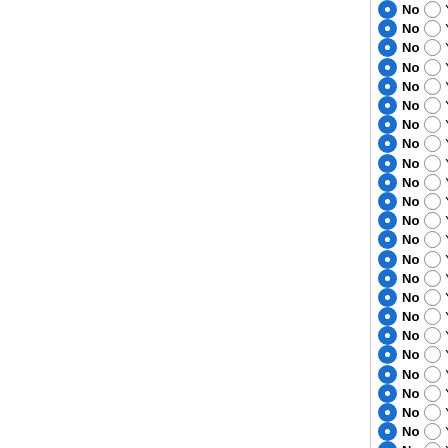No | Yes | Myxococcus stipitatus DSM ...
No | Yes | Neisseria meningitidis WUE...
No | Yes | Neisseria meningitidis G213...
No | Yes | Neisseria meningitidis M04-2...
No | Yes | Neisseria meningitidis M01-2...
No | Yes | Neisseria meningitidis NZ-05...
No | Yes | Neisseria meningitidis M01-2...
No | Yes | Neisseria meningitidis 8013
No | Yes | Neisseria meningitidis 05344...
No | Yes | Neisseria meningitidis Z2491...
No | Yes | Neisseria meningitidis H44/7...
No | Yes | Neisseria meningitidis alpha...
No | Yes | Neisseria meningitidis MC58...
No | Yes | Neisseria gonorrhoeae TCD...
No | Yes | Neisseria gonorrhoeae FA 1...
No | Yes | Burkholderia phenoliruptrix B...
No | Yes | Pandoraea pnomenusa 3kgr...
No | Yes | Ralstonia pickettii 12J
No | Yes | Ralstonia solanacearum FQ...
No | Yes | Ralstonia solanacearum Po8...
No | Yes | Ralstonia solanacearum PSI...
No | Yes | Ralstonia solanacearum CM...
No | Yes | Ralstonia solanacearum GM...
No | Yes | Burkholderia sp. XI22...